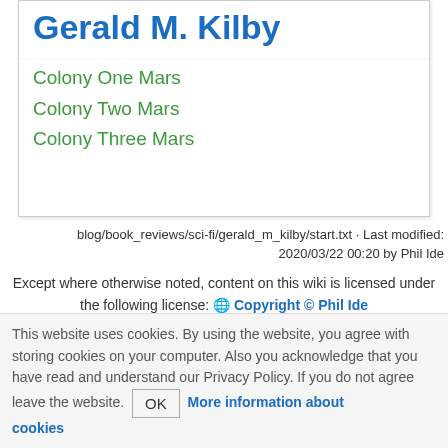Gerald M. Kilby
Colony One Mars
Colony Two Mars
Colony Three Mars
blog/book_reviews/sci-fi/gerald_m_kilby/start.txt · Last modified: 2020/03/22 00:20 by Phil Ide
Except where otherwise noted, content on this wiki is licensed under the following license: 🌐 Copyright © Phil Ide
This website uses cookies. By using the website, you agree with storing cookies on your computer. Also you acknowledge that you have read and understand our Privacy Policy. If you do not agree leave the website. OK More information about cookies